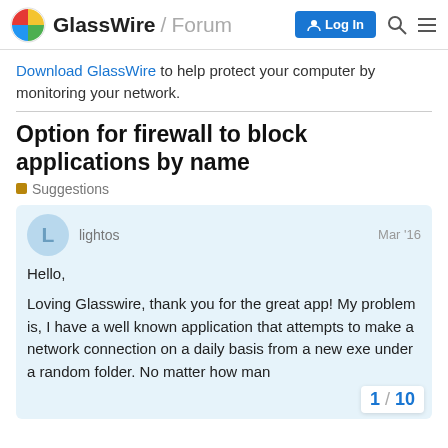GlassWire / Forum
Download GlassWire to help protect your computer by monitoring your network.
Option for firewall to block applications by name
Suggestions
lightos  Mar '16
Hello,
Loving Glasswire, thank you for the great app! My problem is, I have a well known application that attempts to make a network connection on a daily basis from a new exe under a random folder. No matter how many times...
1 / 10